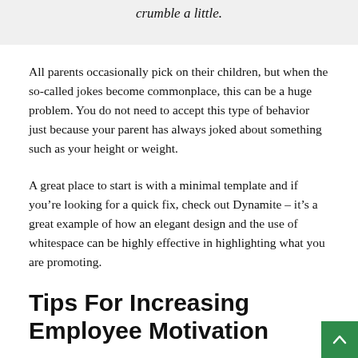crumble a little.
All parents occasionally pick on their children, but when the so-called jokes become commonplace, this can be a huge problem. You do not need to accept this type of behavior just because your parent has always joked about something such as your height or weight.
A great place to start is with a minimal template and if you’re looking for a quick fix, check out Dynamite – it’s a great example of how an elegant design and the use of whitespace can be highly effective in highlighting what you are promoting.
Tips For Increasing Employee Motivation